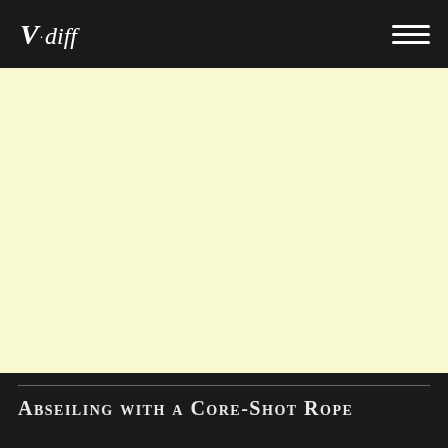V.diff
[Figure (illustration): Light yellow/cream colored rectangular image area, blank content, appears to be a placeholder for a photo related to abseiling with a core-shot rope]
Abseiling with a Core-Shot Rope